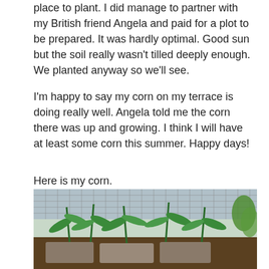place to plant. I did manage to partner with my British friend Angela and paid for a plot to be prepared. It was hardly optimal. Good sun but the soil really wasn't tilled deeply enough. We planted anyway so we'll see.
I'm happy to say my corn on my terrace is doing really well. Angela told me the corn there was up and growing. I think I will have at least some corn this summer. Happy days!
Here is my corn.
[Figure (photo): Photo of young corn plants growing in containers on a terrace or balcony, with metal mesh fencing in the background and other plants visible.]